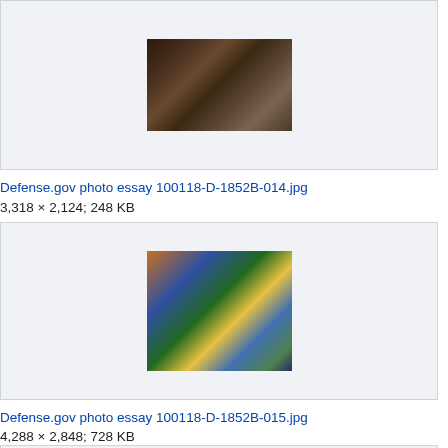[Figure (photo): Defense.gov photo essay image showing a medical scene with a person being attended to by military personnel]
Defense.gov photo essay 100118-D-1852B-014.jpg
3,318 × 2,124; 248 KB
[Figure (photo): Defense.gov photo essay image showing outdoor scene with people in colorful clothing, appears to be a rescue or medical operation]
Defense.gov photo essay 100118-D-1852B-015.jpg
4,288 × 2,848; 728 KB
[Figure (photo): Partial view of another gallery item at bottom of page]